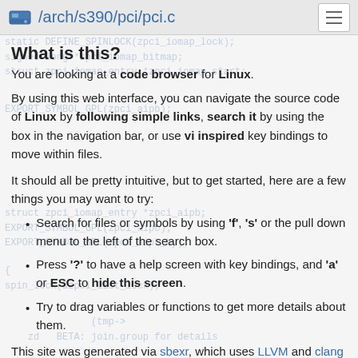/arch/s390/pci/pci.c
What is this?
You are looking at a code browser for Linux.
By using this web interface, you can navigate the source code of Linux by following simple links, search it by using the box in the navigation bar, or use vi inspired key bindings to move within files.
It should all be pretty intuitive, but to get started, here are a few things you may want to try:
Search for files or symbols by using 'f', 's' or the pull down menu to the left of the search box.
Press '?' to have a help screen with key bindings, and 'a' or ESC to hide this screen.
Try to drag variables or functions to get more details about them.
This site was generated via sbexr, which uses LLVM and clang to parse and index the code.
sbexr is free software (as in "free speech"), under heavy development, sbexr.sbexr.org and the Linux kernel source code